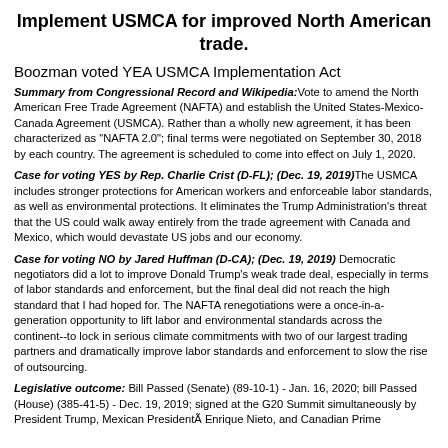Implement USMCA for improved North American trade.
Boozman voted YEA USMCA Implementation Act
Summary from Congressional Record and Wikipedia: Vote to amend the North American Free Trade Agreement (NAFTA) and establish the United States-Mexico-Canada Agreement (USMCA). Rather than a wholly new agreement, it has been characterized as "NAFTA 2.0"; final terms were negotiated on September 30, 2018 by each country. The agreement is scheduled to come into effect on July 1, 2020.
Case for voting YES by Rep. Charlie Crist (D-FL); (Dec. 19, 2019) The USMCA includes stronger protections for American workers and enforceable labor standards, as well as environmental protections. It eliminates the Trump Administration's threat that the US could walk away entirely from the trade agreement with Canada and Mexico, which would devastate US jobs and our economy.
Case for voting NO by Jared Huffman (D-CA); (Dec. 19, 2019) Democratic negotiators did a lot to improve Donald Trump's weak trade deal, especially in terms of labor standards and enforcement, but the final deal did not reach the high standard that I had hoped for. The NAFTA renegotiations were a once-in-a-generation opportunity to lift labor and environmental standards across the continent--to lock in serious climate commitments with two of our largest trading partners and dramatically improve labor standards and enforcement to slow the rise of outsourcing.
Legislative outcome: Bill Passed (Senate) (89-10-1) - Jan. 16, 2020; bill Passed (House) (385-41-5) - Dec. 19, 2019; signed at the G20 Summit simultaneously by President Trump, Mexican President Enrique Nieto, and Canadian Prime